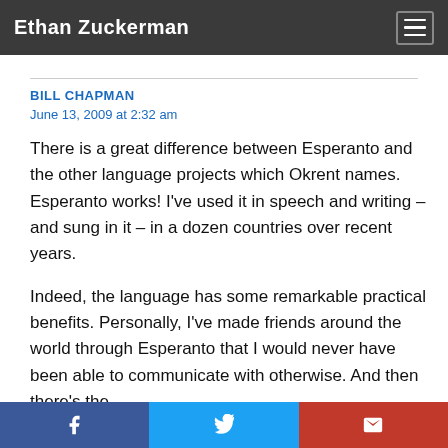Ethan Zuckerman
BILL CHAPMAN
June 13, 2009 at 2:32 am
There is a great difference between Esperanto and the other language projects which Okrent names. Esperanto works! I've used it in speech and writing – and sung in it – in a dozen countries over recent years.
Indeed, the language has some remarkable practical benefits. Personally, I've made friends around the world through Esperanto that I would never have been able to communicate with otherwise. And then there's the
f  [twitter]  [email]